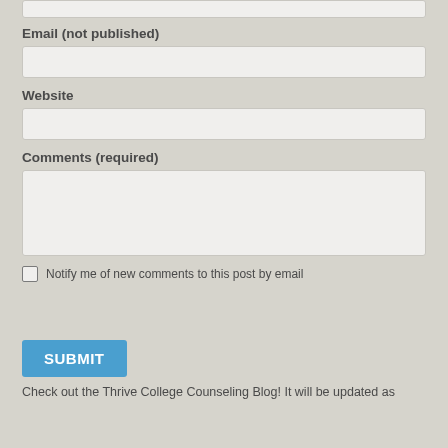Email (not published)
[Figure (screenshot): Email input text field (empty)]
Website
[Figure (screenshot): Website input text field (empty)]
Comments (required)
[Figure (screenshot): Comments textarea field (empty, resizable)]
Notify me of new comments to this post by email
[Figure (screenshot): SUBMIT button in blue]
Check out the Thrive College Counseling Blog! It will be updated as